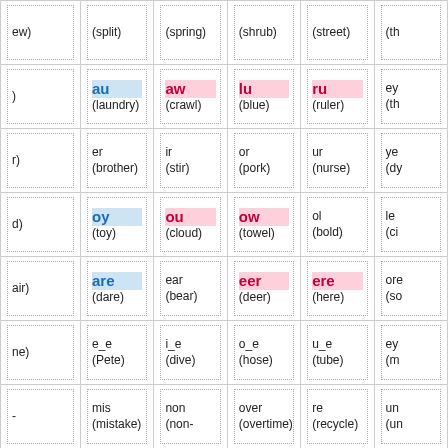| ew) | (split) | (spring) | (shrub) | (street) | (th |
| ) | au (laundry) | aw (crawl) | lu (blue) | ru (ruler) | ey (th |
| r) | er (brother) | ir (stir) | or (pork) | ur (nurse) | ye (dy |
| d) | oy (toy) | ou (cloud) | ow (towel) | ol (bold) | le (ci |
| air) | are (dare) | ear (bear) | eer (deer) | ere (here) | ore (so |
| ne) | e_e (Pete) | i_e (dive) | o_e (hose) | u_e (tube) | ey (m |
| - | mis (mistake) | non (non- | over (overtime) | re (recycle) | un (un |